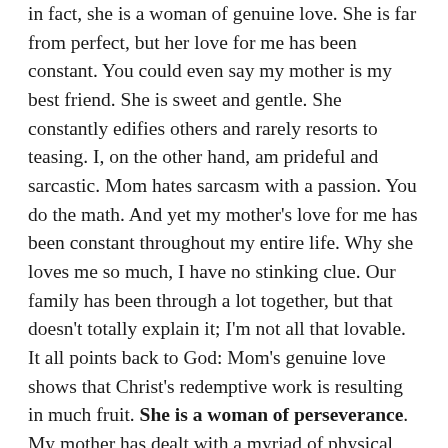in fact, she is a woman of genuine love. She is far from perfect, but her love for me has been constant. You could even say my mother is my best friend. She is sweet and gentle. She constantly edifies others and rarely resorts to teasing. I, on the other hand, am prideful and sarcastic. Mom hates sarcasm with a passion. You do the math. And yet my mother's love for me has been constant throughout my entire life. Why she loves me so much, I have no stinking clue. Our family has been through a lot together, but that doesn't totally explain it; I'm not all that lovable. It all points back to God: Mom's genuine love shows that Christ's redemptive work is resulting in much fruit. She is a woman of perseverance. My mother has dealt with a myriad of physical ailments her entire life. Whether or not she is healed in this life or the one to come, God's strength has been perfected on numerous occasions through her physical weaknesses. A million examples could be shared—yes, a million (I counted them)—but I am reminded of two afflictions that have tested her physically, as well as emotionally and spiritually. 1. My father